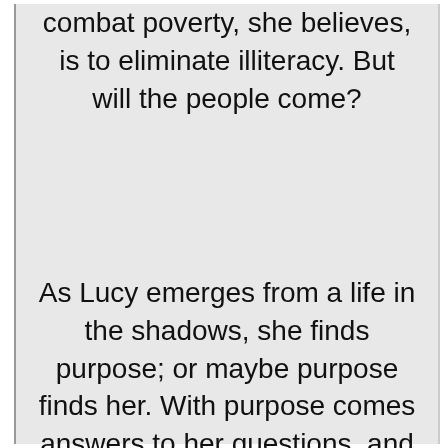combat poverty, she believes, is to eliminate illiteracy. But will the people come?
As Lucy emerges from a life in the shadows, she finds purpose; or maybe purpose finds her. With purpose comes answers to her questions, and something else she hadn't expected: love.